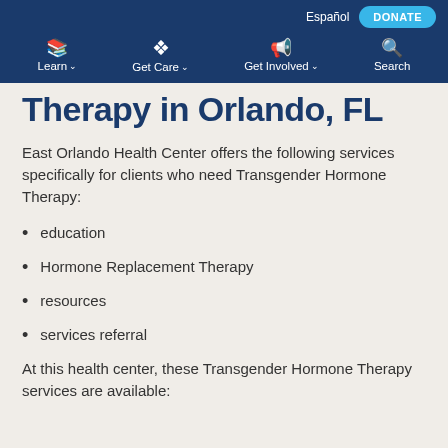Español  DONATE
Learn  Get Care  Get Involved  Search
Therapy in Orlando, FL
East Orlando Health Center offers the following services specifically for clients who need Transgender Hormone Therapy:
education
Hormone Replacement Therapy
resources
services referral
At this health center, these Transgender Hormone Therapy services are available: